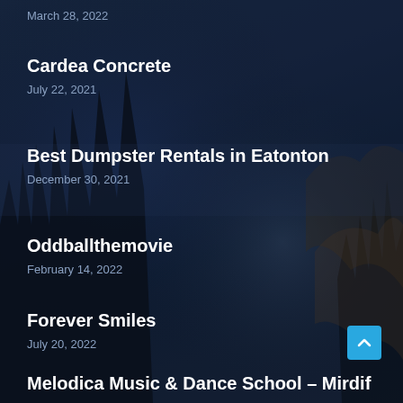March 28, 2022
Cardea Concrete
July 22, 2021
Best Dumpster Rentals in Eatonton
December 30, 2021
Oddballthemovie
February 14, 2022
Forever Smiles
July 20, 2022
Melodica Music & Dance School – Mirdif
August 23, 2022